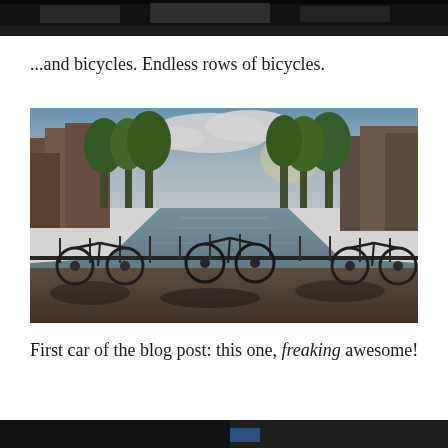[Figure (photo): Top cropped portion of a dark photograph, partially visible at the top of the page]
...and bicycles. Endless rows of bicycles.
[Figure (photo): Photo of Amsterdam canal with bicycles parked along a railing in the foreground, canal stretching into the distance lined with trees and buildings]
First car of the blog post: this one, freaking awesome!
[Figure (photo): Bottom cropped portion of a photograph, partially visible at the bottom of the page]